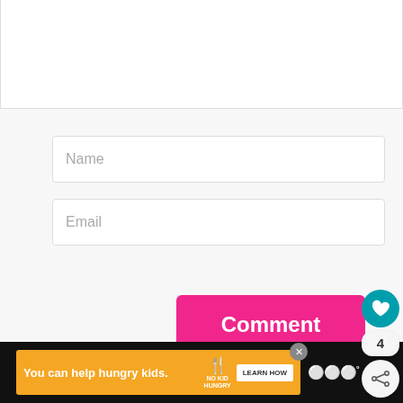[Figure (screenshot): Web comment form with Name and Email input fields, a pink Comment submit button, a teal heart/like button showing count 4, a share button, and Akismet spam notice. Bottom shows a No Kid Hungry advertisement banner.]
Name
Email
Comment
4
This site uses Akismet to reduce spam. Learn how your comment data is processed.
WHAT'S NEXT → Preschool STEM...
You can help hungry kids.  NO KID HUNGRY  LEARN HOW